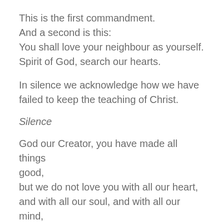This is the first commandment.
And a second is this:
You shall love your neighbour as yourself.
Spirit of God, search our hearts.
In silence we acknowledge how we have failed to keep the teaching of Christ.
Silence
God our Creator, you have made all things good,
but we do not love you with all our heart,
and with all our soul, and with all our mind,
and with all our strength.